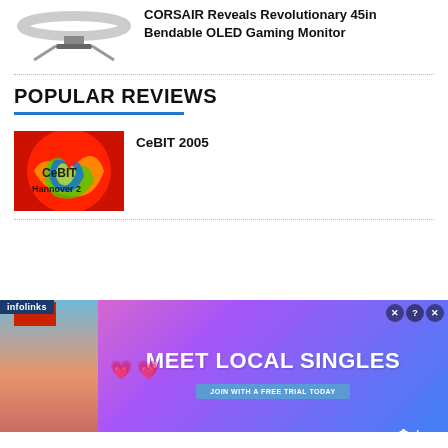[Figure (photo): CORSAIR bendable OLED gaming monitor top-down silhouette view]
CORSAIR Reveals Revolutionary 45in Bendable OLED Gaming Monitor
POPULAR REVIEWS
[Figure (photo): CeBIT 2005 colorful swirly logo image with text CeBIT Hannover 2]
CeBIT 2005
[Figure (photo): Advertisement banner: infolinks - Meet Local Singles - Join with a free trial today - Clover dating app]